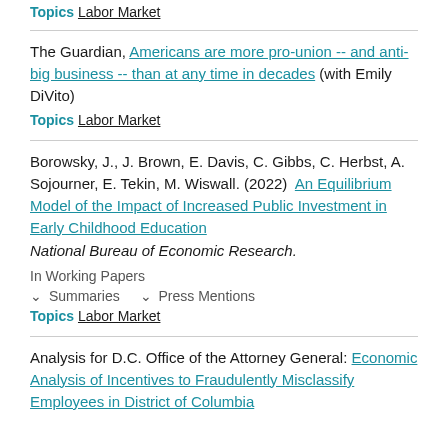Topics Labor Market
The Guardian, Americans are more pro-union -- and anti-big business -- than at any time in decades (with Emily DiVito)
Topics Labor Market
Borowsky, J., J. Brown, E. Davis, C. Gibbs, C. Herbst, A. Sojourner, E. Tekin, M. Wiswall. (2022) An Equilibrium Model of the Impact of Increased Public Investment in Early Childhood Education National Bureau of Economic Research.
In Working Papers
Summaries Press Mentions
Topics Labor Market
Analysis for D.C. Office of the Attorney General: Economic Analysis of Incentives to Fraudulently Misclassify Employees in District of Columbia